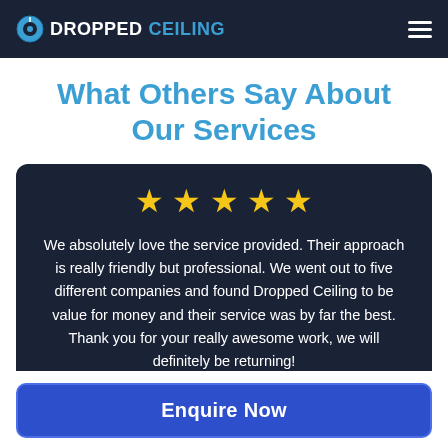DROPPEDCEILING
What Others Say About Our Services
[Figure (other): Five gold stars rating]
We absolutely love the service provided. Their approach is really friendly but professional. We went out to five different companies and found Dropped Ceiling to be value for money and their service was by far the best. Thank you for your really awesome work, we will definitely be returning!
Enquire Now